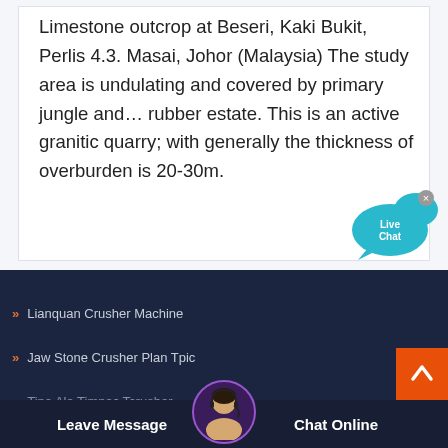Limestone outcrop at Beseri, Kaki Bukit, Perlis 4.3. Masai, Johor (Malaysia) The study area is undulating and covered by primary jungle and… rubber estate. This is an active granitic quarry; with generally the thickness of overburden is 20-30m.
[Figure (other): Live Chat speech bubble widget with close button in top right corner, teal/cyan color]
Lianquan Crusher Machine
Jaw Stone Crusher Plan Tpic
Tipe Ala Timpac Tcrusher
[Figure (other): Orange back-to-top button with upward arrow]
[Figure (other): Bottom bar with customer service avatar/photo, Leave Message button, Chat Online button]